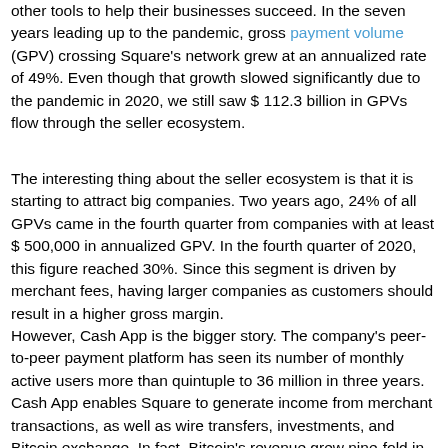other tools to help their businesses succeed. In the seven years leading up to the pandemic, gross payment volume (GPV) crossing Square's network grew at an annualized rate of 49%. Even though that growth slowed significantly due to the pandemic in 2020, we still saw $ 112.3 billion in GPVs flow through the seller ecosystem.
The interesting thing about the seller ecosystem is that it is starting to attract big companies. Two years ago, 24% of all GPVs came in the fourth quarter from companies with at least $ 500,000 in annualized GPV. In the fourth quarter of 2020, this figure reached 30%. Since this segment is driven by merchant fees, having larger companies as customers should result in a higher gross margin.
However, Cash App is the bigger story. The company's peer-to-peer payment platform has seen its number of monthly active users more than quintuple to 36 million in three years. Cash App enables Square to generate income from merchant transactions, as well as wire transfers, investments, and Bitcoin exchange. In fact, Bitcoin's revenue grew nine-fold in 2020 to $ 4.57 billion. Bitcoin revenue only